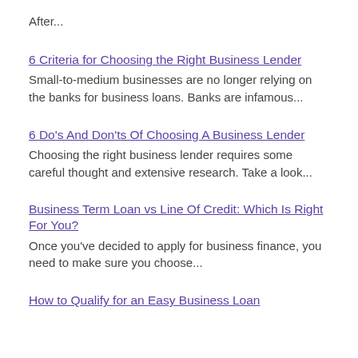After...
6 Criteria for Choosing the Right Business Lender
Small-to-medium businesses are no longer relying on the banks for business loans. Banks are infamous...
6 Do's And Don'ts Of Choosing A Business Lender
Choosing the right business lender requires some careful thought and extensive research. Take a look...
Business Term Loan vs Line Of Credit: Which Is Right For You?
Once you've decided to apply for business finance, you need to make sure you choose...
How to Qualify for an Easy Business Loan